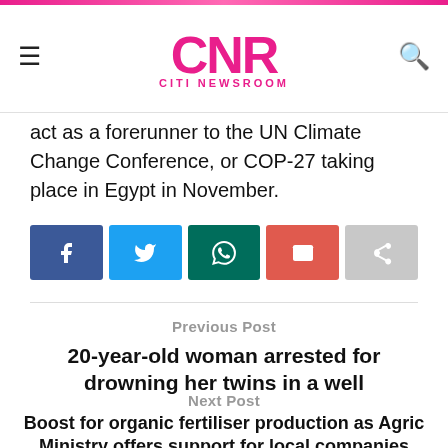CNR CITI NEWSROOM
act as a forerunner to the UN Climate Change Conference, or COP-27 taking place in Egypt in November.
[Figure (other): Social share buttons: Facebook, Twitter, WhatsApp, Email, Share]
Previous Post
20-year-old woman arrested for drowning her twins in a well
Next Post
Boost for organic fertiliser production as Agric Ministry offers support for local companies